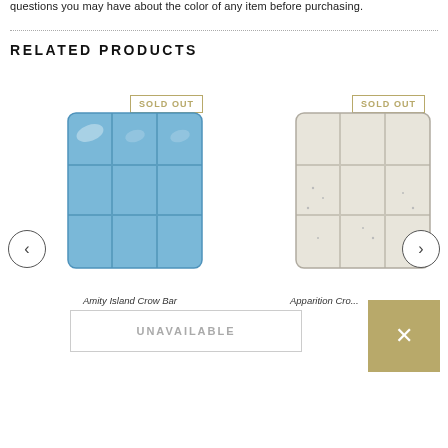questions you may have about the color of any item before purchasing.
RELATED PRODUCTS
[Figure (photo): Blue wax melt bar product image with 'SOLD OUT' badge]
[Figure (photo): White/cream wax melt bar product image with 'SOLD OUT' badge]
Amity Island Crow Bar
Apparition Crow
UNAVAILABLE